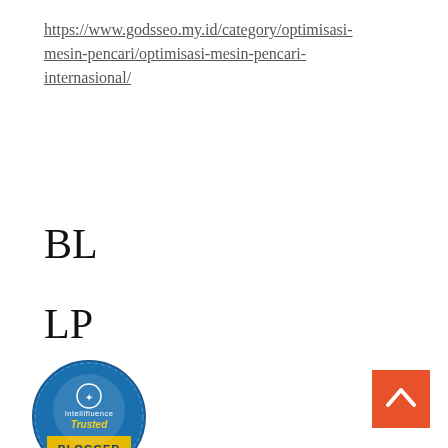https://www.godsseo.my.id/category/optimisasi-mesin-pencari/optimisasi-mesin-pencari-internasional/
BL
LP
TL
[Figure (logo): Intellifluence Trusted Blogger badge — circular blue and gold badge with text 'Intellifluence', 'Trusted', 'BLOGGER' and stars]
[Figure (other): Orange square back-to-top button with white upward chevron arrow]